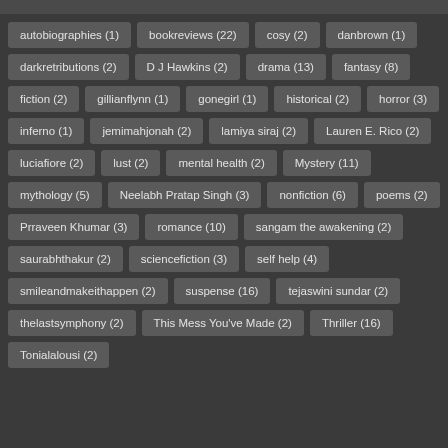autobiographies (1)
bookreviews (22)
cosy (2)
danbrown (1)
darkretributions (2)
D J Hawkins (2)
drama (13)
fantasy (8)
fiction (2)
gillianflynn (1)
gonegirl (1)
historical (2)
horror (3)
inferno (1)
jemimahjonah (2)
lamiya siraj (2)
Lauren E. Rico (2)
luciafiore (2)
lust (2)
mental health (2)
Mystery (11)
mythology (5)
Neelabh Pratap Singh (3)
nonfiction (6)
poems (2)
Prraveen Khumar (3)
romance (10)
sangam the awakening (2)
saurabhthakur (2)
sciencefiction (3)
self help (4)
smileandmakeithappen (2)
suspense (16)
tejaswini sundar (2)
thelastsymphony (2)
This Mess You've Made (2)
Thriller (16)
Tonialalousi (2)